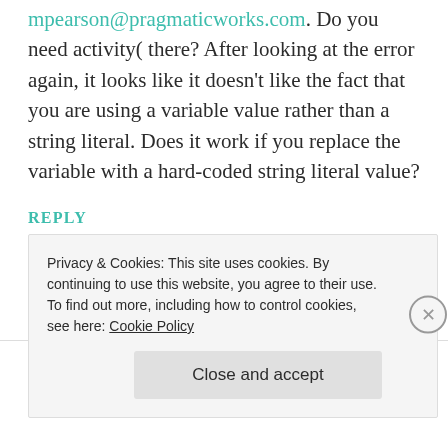mpearson@pragmaticworks.com. Do you need activity( there? After looking at the error again, it looks like it doesn't like the fact that you are using a variable value rather than a string literal. Does it work if you replace the variable with a hard-coded string literal value?
REPLY
Privacy & Cookies: This site uses cookies. By continuing to use this website, you agree to their use. To find out more, including how to control cookies, see here: Cookie Policy
Close and accept